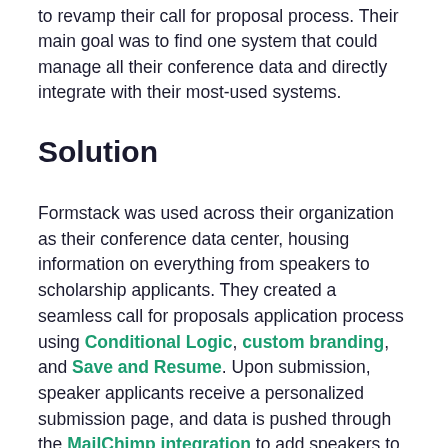to revamp their call for proposal process. Their main goal was to find one system that could manage all their conference data and directly integrate with their most-used systems.
Solution
Formstack was used across their organization as their conference data center, housing information on everything from speakers to scholarship applicants. They created a seamless call for proposals application process using Conditional Logic, custom branding, and Save and Resume. Upon submission, speaker applicants receive a personalized submission page, and data is pushed through the MailChimp integration to add speakers to specific email lists.